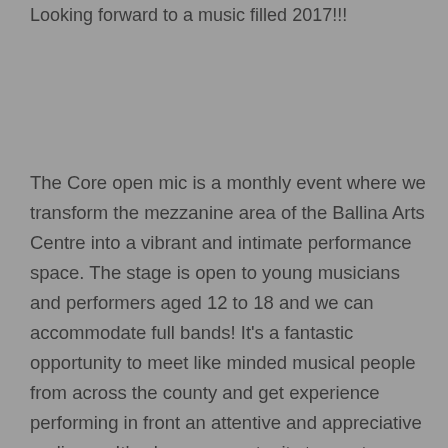Looking forward to a music filled 2017!!!
The Core open mic is a monthly event where we transform the mezzanine area of the Ballina Arts Centre into a vibrant and intimate performance space. The stage is open to young musicians and performers aged 12 to 18 and we can accommodate full bands! It's a fantastic opportunity to meet like minded musical people from across the county and get experience performing in front an attentive and appreciative audience. It's also an opportunity to meet members of The Core, get a tour and even sign up to become a member yourself! As always, friends and family are more